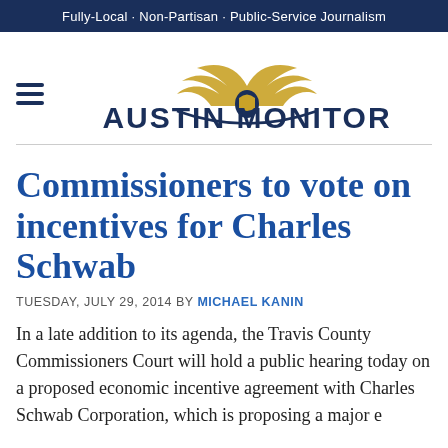Fully-Local · Non-Partisan · Public-Service Journalism
[Figure (logo): Austin Monitor logo with stylized eagle wings above text AUSTIN MONITOR, with hamburger menu icon to the left]
Commissioners to vote on incentives for Charles Schwab
TUESDAY, JULY 29, 2014 BY MICHAEL KANIN
In a late addition to its agenda, the Travis County Commissioners Court will hold a public hearing today on a proposed economic incentive agreement with Charles Schwab Corporation, which is proposing a major e